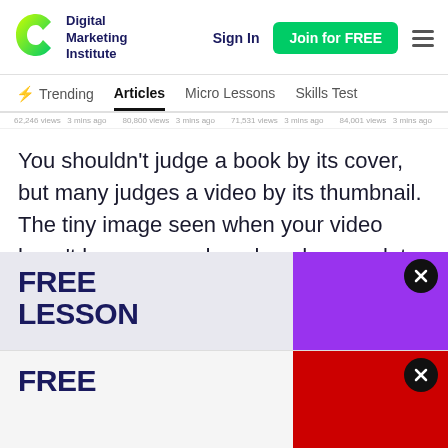Digital Marketing Institute — Sign In | Join for FREE
Trending | Articles | Micro Lessons | Skills Test
62,246 views · 3 mins ago   80,800 views · 3 mins ago   71,531 views · 3 mins ago   84,001 views · 3 mins ago   112,622 views · 3 mins ago
You shouldn't judge a book by its cover, but many judges a video by its thumbnail. The tiny image seen when your video hasn't been opened or played says a lot. It tells a story about the video before it's ever set in motion. Having a thumbnail present in your search engine results
[Figure (screenshot): Promotional popup overlay showing FREE LESSON text in dark blue bold font on left, purple rectangle on right, with close button. Second popup below with FREE text and red rectangle on right.]